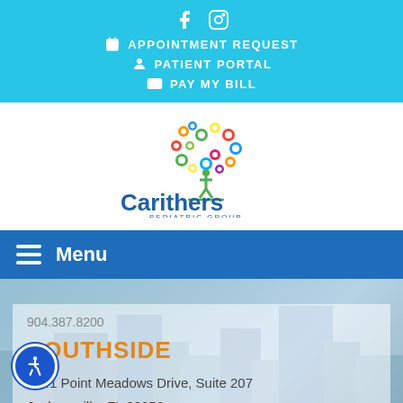[Figure (screenshot): Top bar with social media icons (Facebook, Instagram), appointment request, patient portal, pay my bill links on cyan background]
[Figure (logo): Carithers Pediatric Group logo with colorful circle tree above the text]
Menu
904.387.8200
SOUTHSIDE
7741 Point Meadows Drive, Suite 207
Jacksonville, FL 32256
904.997.0023